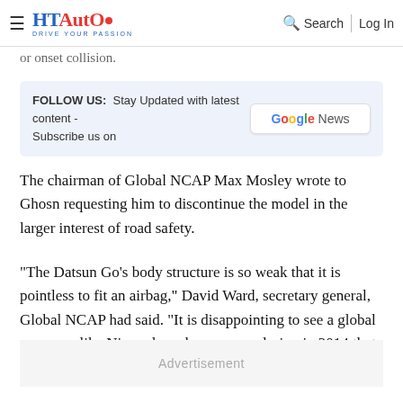HT Auto – DRIVE YOUR PASSION | Search | Log In
or onset collision.
FOLLOW US: Stay Updated with latest content - Subscribe us on | Google News
The chairman of Global NCAP Max Mosley wrote to Ghosn requesting him to discontinue the model in the larger interest of road safety.
"The Datsun Go's body structure is so weak that it is pointless to fit an airbag," David Ward, secretary general, Global NCAP had said. "It is disappointing to see a global company like Nissan launch a new car design in 2014 that so clearly falls below United Nation safety standards."
Advertisement